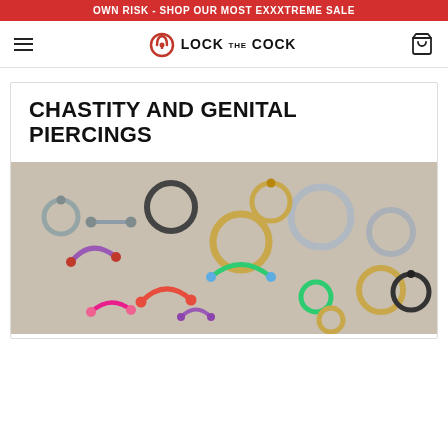OWN RISK - SHOP OUR MOST EXXXTREME SALE
[Figure (logo): Lock The Cock logo with padlock icon and navigation bar]
CHASTITY AND GENITAL PIERCINGS
[Figure (photo): Assorted colorful body piercing jewelry rings and barbells spread on a white surface]